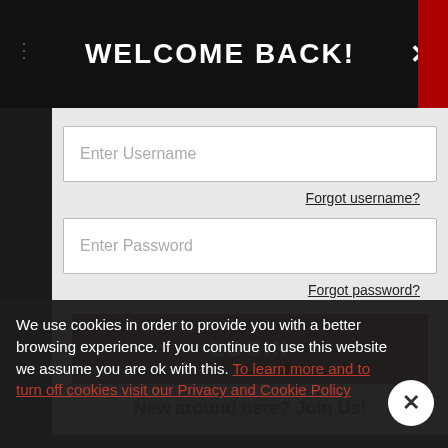WELCOME BACK!
Enter Username
Forgot username?
Enter Password
Forgot password?
LOGIN
New around here? Join Us!
We use cookies in order to provide you with a better browsing experience. If you continue to use this website we assume you are ok with this. To learn more and to turn off cookies visit our Privacy and Cookie Policy